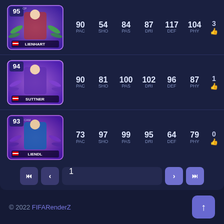[Figure (screenshot): FIFA mobile player card listing showing three Austrian players: LIENHART (95 rated), SUTTNER (94 rated), LIENDL (93 rated) with their stats (PAC, SHO, PAS, DRI, DEF, PHY) and like counts. Pagination bar at bottom showing page 1. Footer showing © 2022 FIFARenderZ.]